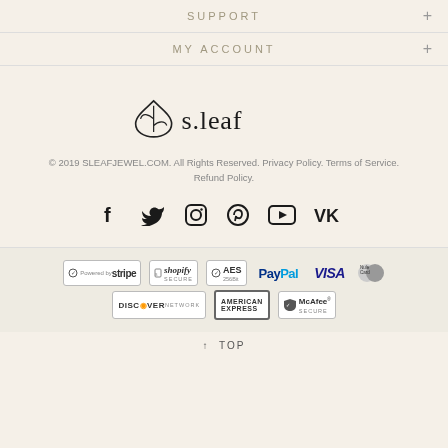SUPPORT
MY ACCOUNT
[Figure (logo): s.leaf brand logo with leaf icon and text]
© 2019 SLEAFJEWEL.COM. All Rights Reserved. Privacy Policy. Terms of Service. Refund Policy.
[Figure (infographic): Social media icons: Facebook, Twitter, Instagram, Pinterest, YouTube, VK]
[Figure (infographic): Payment security badges: Stripe, Shopify Secure, AES 256Bit, PayPal, VISA, Mastercard, Discover Network, American Express, McAfee Secure]
↑ TOP